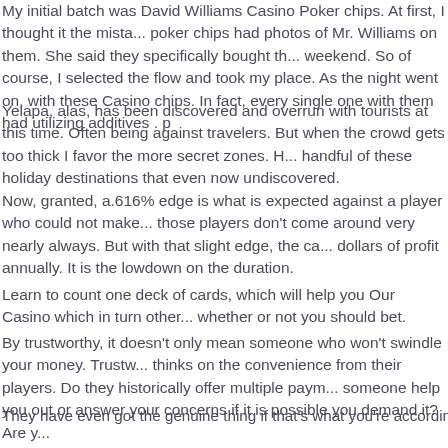My initial batch was David Williams Casino Poker chips. At first, I thought it the mista... poker chips had photos of Mr. Williams on them. She said they specifically bought th... weekend. So of course, I selected the flow and took my place. As the night went on, with these Casino chips. In fact, every single one with them had utilizing additives . p
Yelapa, alas, has been discovered and overrun with tourists at this time. Often being against travelers. But when the crowd gets too thick I favor the more secret zones. H... handful of these holiday destinations that even now undiscovered.
Now, granted, a.616% edge is what is expected against a player who could not make... those players don't come around very nearly always. But with that slight edge, the ca... dollars of profit annually. It is the lowdown on the duration.
Learn to count one deck of cards, which will help you Our Casino which in turn other... whether or not you should bet.
By trustworthy, it doesn't only mean someone who won't swindle your money. Trustw... thinks on the convenience from their players. Do they historically offer multiple paym... someone help you out or answer your concerns if it is possible you demand it? Are y...
They have even got the genuine thing if that's what you're according to. The hotel off... nursing. But if that like too much adventure for you the aquariums are also world clas... lot associated with restaurants just use the aquarium tanks as backdrops. online cas... spa, a golf course and a dolphin cay. There are seven primary restaurants, two bars... around the resort. Or reduce just experience the beach.